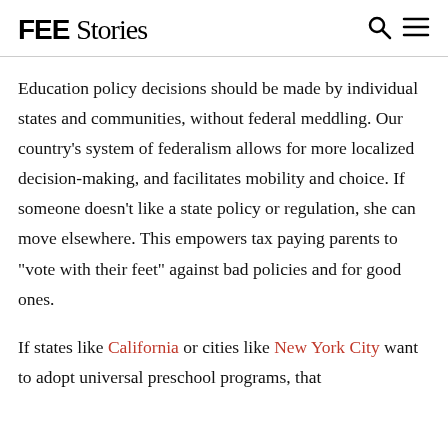FEE Stories
Education policy decisions should be made by individual states and communities, without federal meddling. Our country's system of federalism allows for more localized decision-making, and facilitates mobility and choice. If someone doesn't like a state policy or regulation, she can move elsewhere. This empowers tax paying parents to "vote with their feet" against bad policies and for good ones.
If states like California or cities like New York City want to adopt universal preschool programs, that